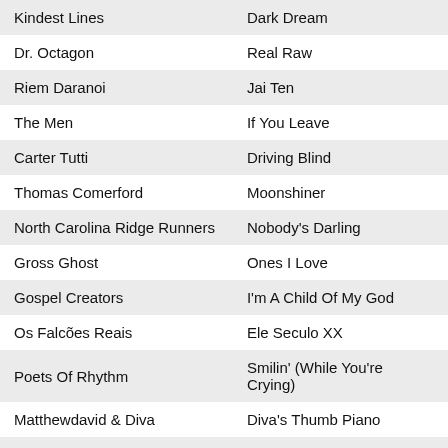| Artist | Track |
| --- | --- |
| Kindest Lines | Dark Dream |
| Dr. Octagon | Real Raw |
| Riem Daranoi | Jai Ten |
| The Men | If You Leave |
| Carter Tutti | Driving Blind |
| Thomas Comerford | Moonshiner |
| North Carolina Ridge Runners | Nobody's Darling |
| Gross Ghost | Ones I Love |
| Gospel Creators | I'm A Child Of My God |
| Os Falcões Reais | Ele Seculo XX |
| Poets Of Rhythm | Smilin' (While You're Crying) |
| Matthewdavid & Diva | Diva's Thumb Piano |
| Freddie McGregor | I Shall Be Released |
| Orquestra Contemporânea De Olinda & Emicida | Roda |
| The Hunches | Unraveling |